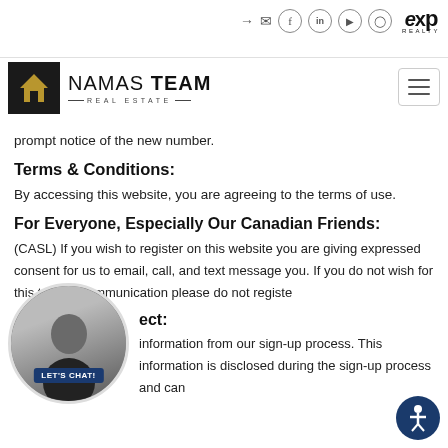Namas Team Real Estate — eXp Realty header with navigation icons
prompt notice of the new number.
Terms & Conditions:
By accessing this website, you are agreeing to the terms of use.
For Everyone, Especially Our Canadian Friends:
(CASL) If you wish to register on this website you are giving expressed consent for us to email, call, and text message you. If you do not wish for this type of communication please do not register.
ect:
information from our sign-up process. This information is disclosed during the sign-up process and can
[Figure (photo): Round profile photo of a man with glasses wearing black, with LET'S CHAT! button overlay]
[Figure (illustration): Accessibility icon button (blue circle with person figure)]